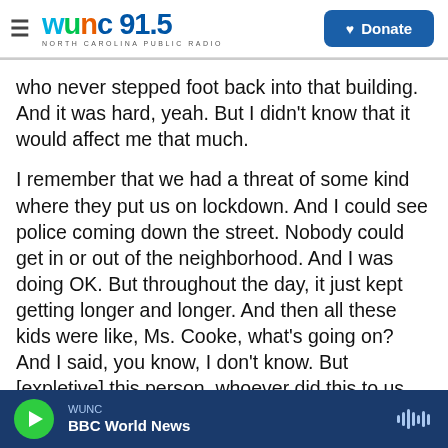WUNC 91.5 NORTH CAROLINA PUBLIC RADIO | Donate
who never stepped foot back into that building. And it was hard, yeah. But I didn't know that it would affect me that much.
I remember that we had a threat of some kind where they put us on lockdown. And I could see police coming down the street. Nobody could get in or out of the neighborhood. And I was doing OK. But throughout the day, it just kept getting longer and longer. And then all these kids were like, Ms. Cooke, what's going on? And I said, you know, I don't know. But [expletive] this person, whoever did this to us. And as you know, you know, I don't curse
WUNC | BBC World News